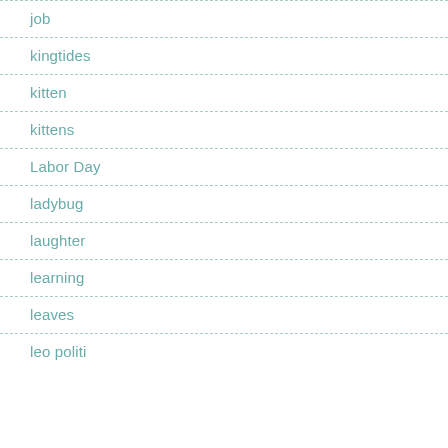job
kingtides
kitten
kittens
Labor Day
ladybug
laughter
learning
leaves
leo politi